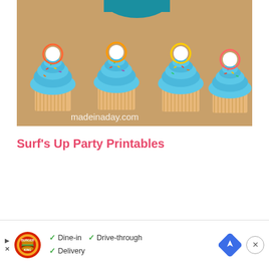[Figure (photo): Photo of blue frosted cupcakes with sprinkles on a wicker tray, with colorful circular toppers. Watermark reads 'madeinaday.com'.]
Surf's Up Party Printables
[Figure (other): Burger King advertisement banner showing logo, checkmarks for Dine-in, Drive-through, Delivery options, a blue navigation arrow icon, and a close (X) button.]